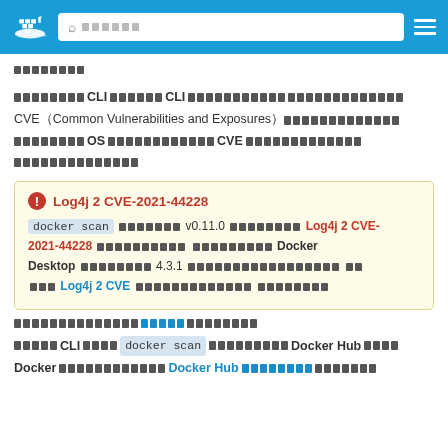Docker navigation bar with logo and search
[Japanese text block] CLI [Japanese] CLI [Japanese] CVE Common Vulnerabilities and Exposures [Japanese] OS [Japanese] CVE [Japanese]
Note: Log4j 2 CVE-2021-44228 — docker scan [Japanese] v0.11.0 [Japanese] Log4j 2 CVE-2021-44228 [Japanese] Docker Desktop [Japanese] 4.3.1 [Japanese] Log4j 2 CVE [Japanese]
[Japanese] [link: Japanese text] [Japanese]
[Japanese] CLI [Japanese] docker scan [Japanese] Docker Hub [Japanese] Docker [Japanese] Docker Hub [link: Japanese] [Japanese]